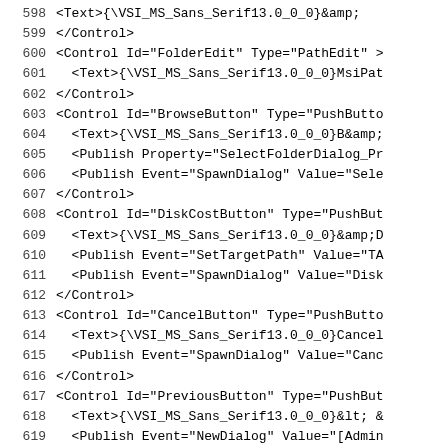598    <Text>{\VSI_MS_Sans_Serif13.0_0_0}&amp;
599    </Control>
600    <Control Id="FolderEdit" Type="PathEdit" >
601      <Text>{\VSI_MS_Sans_Serif13.0_0_0}MsiPat
602    </Control>
603    <Control Id="BrowseButton" Type="PushButto
604      <Text>{\VSI_MS_Sans_Serif13.0_0_0}B&amp;
605      <Publish Property="SelectFolderDialog_Pr
606      <Publish Event="SpawnDialog" Value="Sele
607    </Control>
608    <Control Id="DiskCostButton" Type="PushBut
609      <Text>{\VSI_MS_Sans_Serif13.0_0_0}&amp;D
610      <Publish Event="SetTargetPath" Value="TA
611      <Publish Event="SpawnDialog" Value="Disk
612    </Control>
613    <Control Id="CancelButton" Type="PushButto
614      <Text>{\VSI_MS_Sans_Serif13.0_0_0}Cancel
615      <Publish Event="SpawnDialog" Value="Canc
616    </Control>
617    <Control Id="PreviousButton" Type="PushBut
618      <Text>{\VSI_MS_Sans_Serif13.0_0_0}&lt; &
619      <Publish Event="NewDialog" Value="[Admin
620      <Condition Action="disable"><![CDATA[Adm
621      <Condition Action="enable"><![CDATA[Admi
622    </Control>
623    <Control Id="BannerBmp" Type="Bitmap" X="0
624    <Control Id="Line 1" Type="Line" X="0" Y="